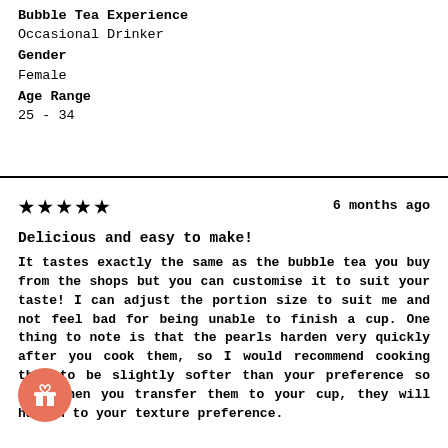Bubble Tea Experience
Occasional Drinker
Gender
Female
Age Range
25 - 34
★★★★★   6 months ago
Delicious and easy to make!
It tastes exactly the same as the bubble tea you buy from the shops but you can customise it to suit your taste! I can adjust the portion size to suit me and not feel bad for being unable to finish a cup. One thing to note is that the pearls harden very quickly after you cook them, so I would recommend cooking them to be slightly softer than your preference so that when you transfer them to your cup, they will harden to your texture preference.